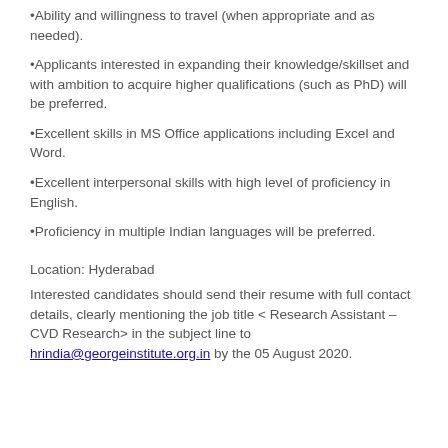Ability and willingness to travel (when appropriate and as needed).
Applicants interested in expanding their knowledge/skillset and with ambition to acquire higher qualifications (such as PhD) will be preferred.
Excellent skills in MS Office applications including Excel and Word.
Excellent interpersonal skills with high level of proficiency in English.
Proficiency in multiple Indian languages will be preferred.
Location: Hyderabad
Interested candidates should send their resume with full contact details, clearly mentioning the job title < Research Assistant – CVD Research> in the subject line to hrindia@georgeinstitute.org.in by the 05 August 2020.